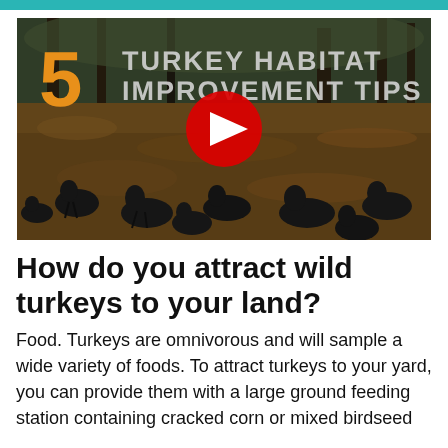[Figure (screenshot): YouTube video thumbnail showing a flock of wild turkeys foraging on a forest floor covered in leaves. Text overlay reads '5 TURKEY HABITAT IMPROVEMENT TIPS' with a large orange '5' on the left and white text on the right. A red YouTube play button is centered on the image.]
How do you attract wild turkeys to your land?
Food. Turkeys are omnivorous and will sample a wide variety of foods. To attract turkeys to your yard, you can provide them with a large ground feeding station containing cracked corn or mixed birdseed